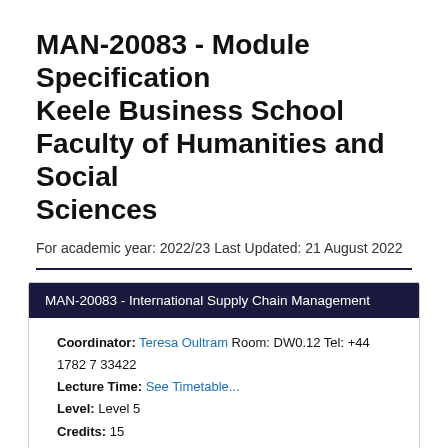MAN-20083 - Module Specification
Keele Business School
Faculty of Humanities and Social Sciences
For academic year: 2022/23 Last Updated: 21 August 2022
MAN-20083 - International Supply Chain Management
Coordinator: Teresa Oultram Room: DW0.12 Tel: +44 1782 7 33422
Lecture Time: See Timetable...
Level: Level 5
Credits: 15
Study Hours: 150